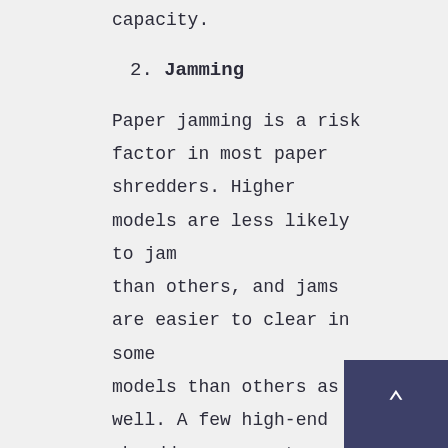capacity.
2. Jamming
Paper jamming is a risk factor in most paper shredders. Higher models are less likely to jam than others, and jams are easier to clear in some models than others as well. A few high-end shredders guarantee you against paper jams.
3. Credit cards
Credit cards are not made out of paper and thus some shredders, especially cheaper ones, may have difficulty shredding them or even cannot do at all. Banks and credit unions will require to make sure this feature is available since they wil